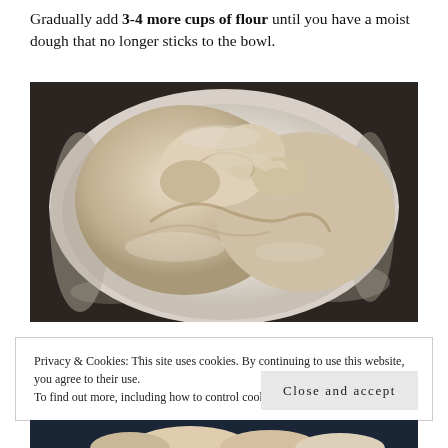Gradually add 3-4 more cups of flour until you have a moist dough that no longer sticks to the bowl.
[Figure (photo): Bread dough in a white mixing bowl, showing a rough moist dough that has been mixed together, photographed from above on a dark surface dusted with flour.]
Privacy & Cookies: This site uses cookies. By continuing to use this website, you agree to their use. To find out more, including how to control cookies, see here: Cookie Policy
Close and accept
[Figure (photo): Partial view of hands working with dough, visible at the very bottom of the page.]